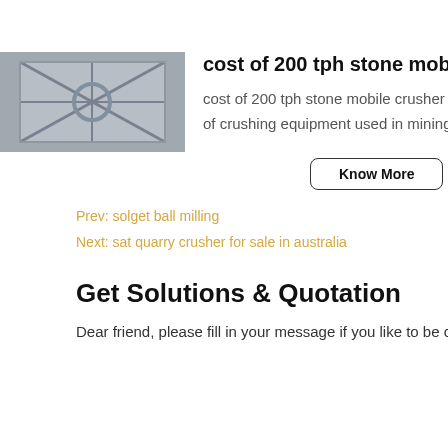Know More
[Figure (photo): Thumbnail image of industrial machinery/scaffolding structure]
cost of 200 tph stone mobile crusher plant in india ,
cost of 200 tph stone mobile crusher plant in india heavy industry is specialized in the design, manufacture and supply of crushing equipment used in mining industry...
Know More
Prev: solget ball milling
Next: sat quarry crusher for sale in australia
Get Solutions & Quotation
Dear friend, please fill in your message if you like to be contacted. Please note that you do not need to have a